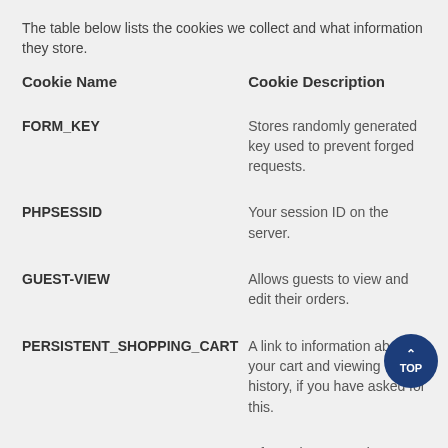The table below lists the cookies we collect and what information they store.
| Cookie Name | Cookie Description |
| --- | --- |
| FORM_KEY | Stores randomly generated key used to prevent forged requests. |
| PHPSESSID | Your session ID on the server. |
| GUEST-VIEW | Allows guests to view and edit their orders. |
| PERSISTENT_SHOPPING_CART | A link to information about your cart and viewing history, if you have asked for this. |
| STF | Information on products you have emailed to |